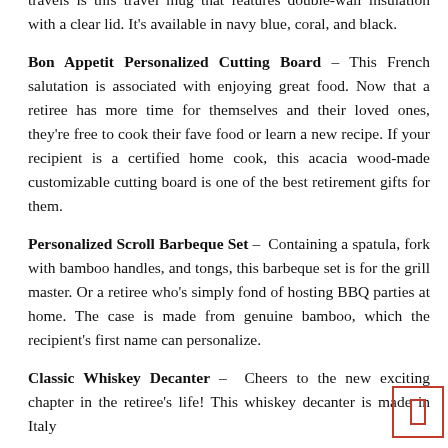travels is this travel mug that features double-wall insulation with a clear lid. It's available in navy blue, coral, and black.
Bon Appetit Personalized Cutting Board – This French salutation is associated with enjoying great food. Now that a retiree has more time for themselves and their loved ones, they're free to cook their fave food or learn a new recipe. If your recipient is a certified home cook, this acacia wood-made customizable cutting board is one of the best retirement gifts for them.
Personalized Scroll Barbeque Set – Containing a spatula, fork with bamboo handles, and tongs, this barbeque set is for the grill master. Or a retiree who's simply fond of hosting BBQ parties at home. The case is made from genuine bamboo, which the recipient's first name can personalize.
Classic Whiskey Decanter – Cheers to the new exciting chapter in the retiree's life! This whiskey decanter is made in Italy